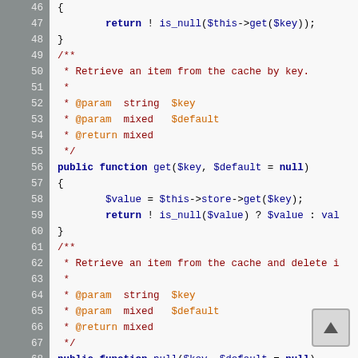[Figure (screenshot): PHP source code editor view showing lines 46-82 with syntax highlighting. Code includes methods: isset check returning !is_null, get() method retrieving from cache store, pull() method retrieving and deleting cache item, and beginning of store method. Line numbers shown in grey gutter on left.]